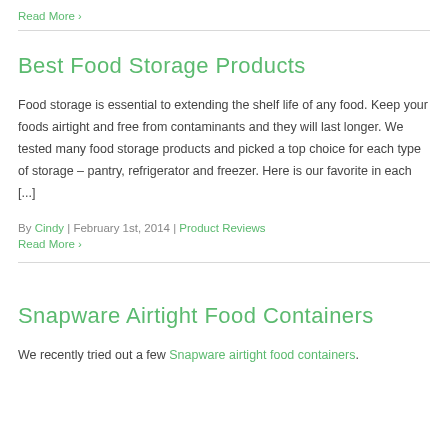Read More ›
Best Food Storage Products
Food storage is essential to extending the shelf life of any food. Keep your foods airtight and free from contaminants and they will last longer. We tested many food storage products and picked a top choice for each type of storage – pantry, refrigerator and freezer. Here is our favorite in each [...]
By Cindy | February 1st, 2014 | Product Reviews
Read More ›
Snapware Airtight Food Containers
We recently tried out a few Snapware airtight food containers.